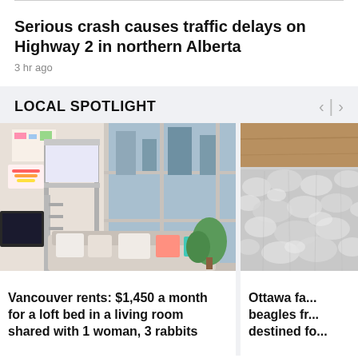Serious crash causes traffic delays on Highway 2 in northern Alberta
3 hr ago
LOCAL SPOTLIGHT
[Figure (photo): Interior of a small apartment showing a metal loft bed, a sofa with pillows, large windows with a city view, and some plants and wall art.]
Vancouver rents: $1,450 a month for a loft bed in a living room shared with 1 woman, 3 rabbits
[Figure (photo): Close-up of a fluffy light-colored dog or animal fur.]
Ottawa fa... beagles fr... destined fo...